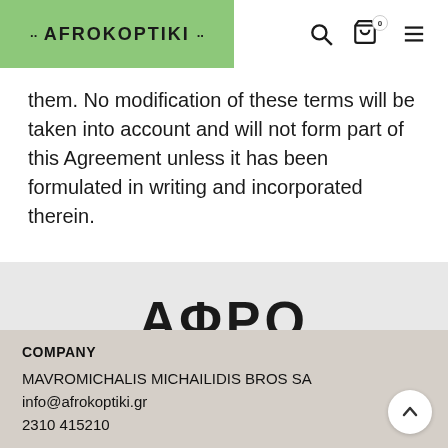AFROKOPTIKI
them. No modification of these terms will be taken into account and will not form part of this Agreement unless it has been formulated in writing and incorporated therein.
[Figure (logo): Afrokoptiki Greek lettering logo with text ΑΦΡΟ ΚΟΠΤΙΚΗ 1965]
COMPANY
MAVROMICHALIS MICHAILIDIS BROS SA
info@afrokoptiki.gr
2310 415210